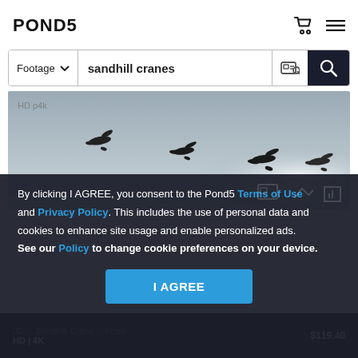POND5
Footage  sandhill cranes
[Figure (photo): Silhouettes of four sandhill cranes flying against a grey overcast sky with a bright spot near the horizon.]
By clicking I AGREE, you consent to the Pond5 Terms of Use and Privacy Policy. This includes the use of personal data and cookies to enhance site usage and enable personalized ads. See our Policy to change cookie preferences on your device.
I AGREE
00:... Sandhill Crane... From $119.40 HD | 4K